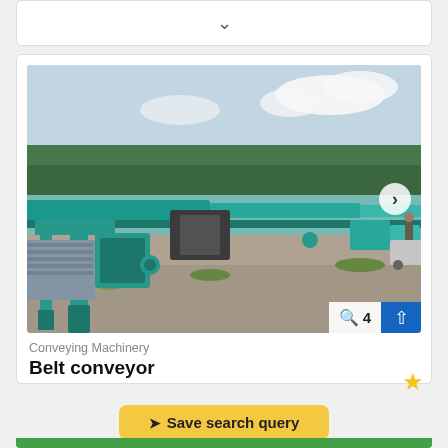[Figure (other): Top card stub with a downward chevron arrow, partially visible card from previous listing]
[Figure (photo): Outdoor photo of a blue-green belt conveyor machine lying on grassy/gravel ground, with trees and sky in background. Navigation arrow on right side. Image count badge showing magnify icon and '4', and blue upload/scroll-up button in bottom-right corner.]
Conveying Machinery
Belt conveyor
Save search query